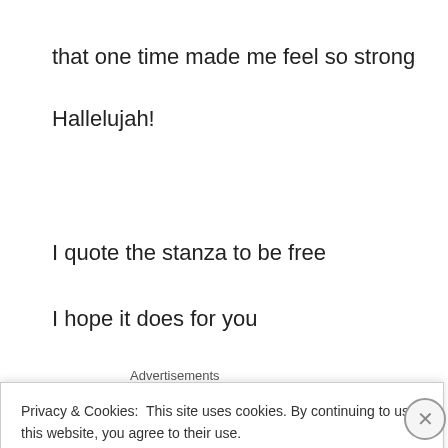that one time made me feel so strong
Hallelujah!
I quote the stanza to be free
I hope it does for you
Advertisements
Privacy & Cookies: This site uses cookies. By continuing to use this website, you agree to their use.
To find out more, including how to control cookies, see here: Cookie Policy
Close and accept